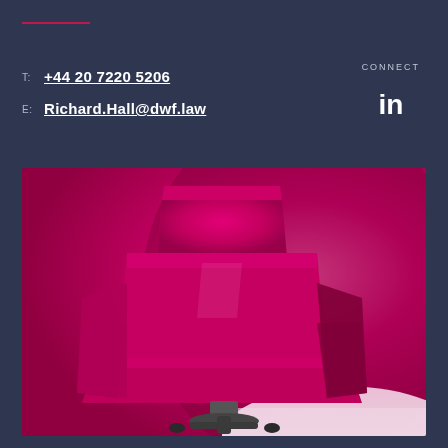T: +44 20 7220 5206
E: Richard.Hall@dwf.law
CONNECT
[Figure (illustration): LinkedIn 'in' icon in white on dark navy background]
[Figure (photo): A magenta/hot-pink modern lounge chair against a bright pink background, photographed from slightly above]